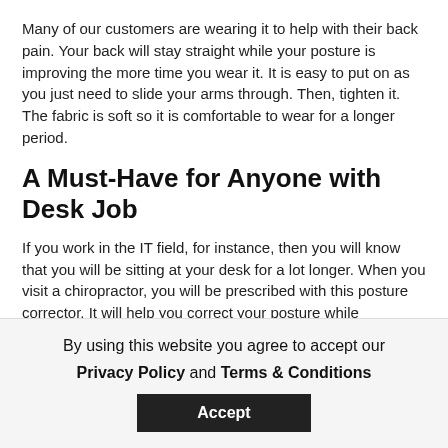Many of our customers are wearing it to help with their back pain. Your back will stay straight while your posture is improving the more time you wear it. It is easy to put on as you just need to slide your arms through. Then, tighten it. The fabric is soft so it is comfortable to wear for a longer period.
A Must-Have for Anyone with Desk Job
If you work in the IT field, for instance, then you will know that you will be sitting at your desk for a lot longer. When you visit a chiropractor, you will be prescribed with this posture corrector. It will help you correct your posture while improving your back pain. At first, you will feel weird. But as you get the hang of it, your posture will get better.
Improving your posture is vital as it affects your overall health
By using this website you agree to accept our Privacy Policy and Terms & Conditions  Accept